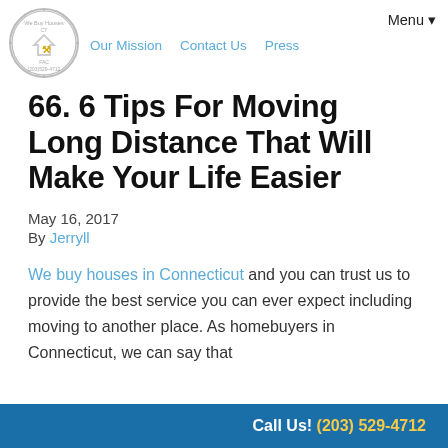Our Mission   Contact Us   Press   Menu▼
[Figure (logo): Circular logo with house icon and text 'We Buy Houses CT (203)529-4712 FAC']
66. 6 Tips For Moving Long Distance That Will Make Your Life Easier
May 16, 2017
By Jerryll
We buy houses in Connecticut and you can trust us to provide the best service you can ever expect including moving to another place. As homebuyers in Connecticut, we can say that
Call Us! (203) 529-4712